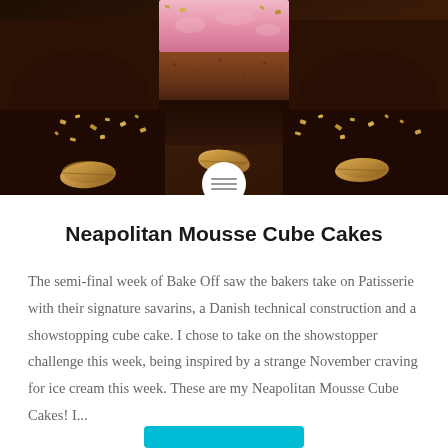[Figure (photo): Overhead photo of Neapolitan Mousse Cube Cakes with chocolate glaze, pink strawberry mousse layer, brown cake layer, scattered whole almonds and chopped hazelnuts on a dark chocolate surface]
Neapolitan Mousse Cube Cakes
The semi-final week of Bake Off saw the bakers take on Patisserie with their signature savarins, a Danish technical construction and a showstopping cube cake. I chose to take on the showstopper challenge this week, being inspired by a strange November craving for ice cream this week. These are my Neapolitan Mousse Cube Cakes! I...